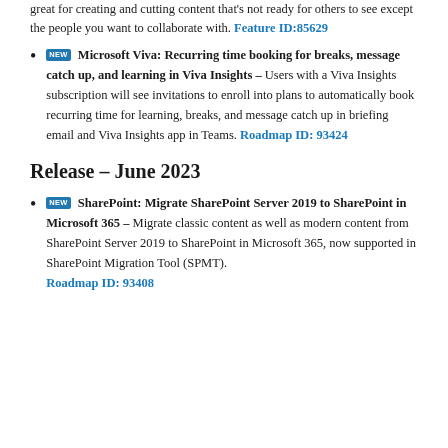great for creating and cutting content that's not ready for others to see except the people you want to collaborate with. Feature ID:85629
Microsoft Viva: Recurring time booking for breaks, message catch up, and learning in Viva Insights – Users with a Viva Insights subscription will see invitations to enroll into plans to automatically book recurring time for learning, breaks, and message catch up in briefing email and Viva Insights app in Teams. Roadmap ID: 93424
Release – June 2023
SharePoint: Migrate SharePoint Server 2019 to SharePoint in Microsoft 365 – Migrate classic content as well as modern content from SharePoint Server 2019 to SharePoint in Microsoft 365, now supported in SharePoint Migration Tool (SPMT). Roadmap ID: 93408